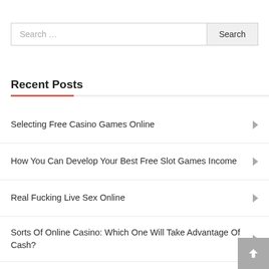Search …
Recent Posts
Selecting Free Casino Games Online
How You Can Develop Your Best Free Slot Games Income
Real Fucking Live Sex Online
Sorts Of Online Casino: Which One Will Take Advantage Of Cash?
Take The Stress And Anxiety Out Of Online Casino